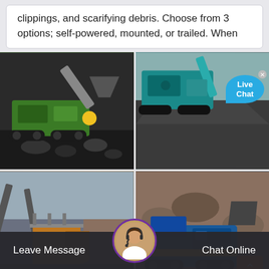clippings, and scarifying debris. Choose from 3 options; self-powered, mounted, or trailed. When
[Figure (photo): Green tracked mobile crusher/screening machine processing dark aggregate/rock material outdoors]
[Figure (photo): Teal/green tracked excavator or mobile crusher working on a large aggregate stockpile, with a Live Chat bubble overlay in the top right corner]
[Figure (photo): Orange/rust colored stationary crushing plant with conveyor belts and cylindrical tanks at a quarry site]
[Figure (photo): Blue mobile impact crusher machine working on reddish-brown rock/aggregate at a quarry, with a back-to-top orange button overlay]
Leave Message
Chat Online